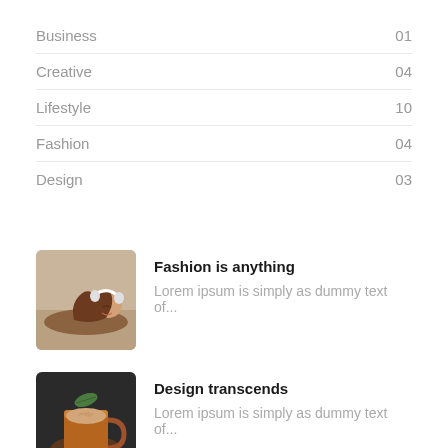Business 01
Creative 04
Lifestyle 10
Fashion 04
Design 03
[Figure (photo): Woman lying down with headphones, eyes closed, brown top]
Fashion is anything
Lorem ipsum is simply as dummy text of...
[Figure (photo): Hands holding a copper mug with a green leaf garnish and latte art]
Design transcends
Lorem ipsum is simply as dummy text of...